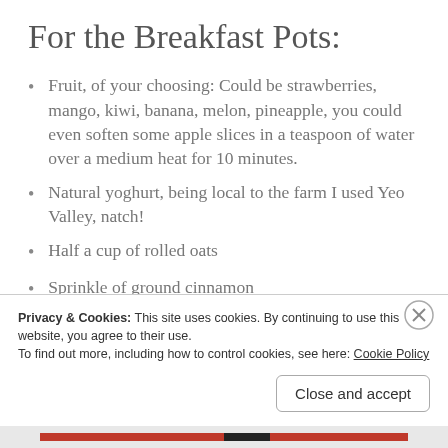For the Breakfast Pots:
Fruit, of your choosing: Could be strawberries, mango, kiwi, banana, melon, pineapple, you could even soften some apple slices in a teaspoon of water over a medium heat for 10 minutes.
Natural yoghurt, being local to the farm I used Yeo Valley, natch!
Half a cup of rolled oats
Sprinkle of ground cinnamon
Teaspoon of light brown sugar
Privacy & Cookies: This site uses cookies. By continuing to use this website, you agree to their use.
To find out more, including how to control cookies, see here: Cookie Policy
Close and accept